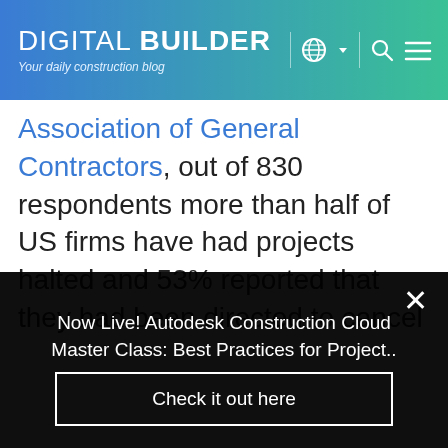DIGITAL BUILDER — Your daily construction blog
Association of General Contractors, out of 830 respondents more than half of US firms have had projects halted and 53% reported that they had been directed to cancel upcoming projects
Now Live! Autodesk Construction Cloud Master Class: Best Practices for Project..
Check it out here